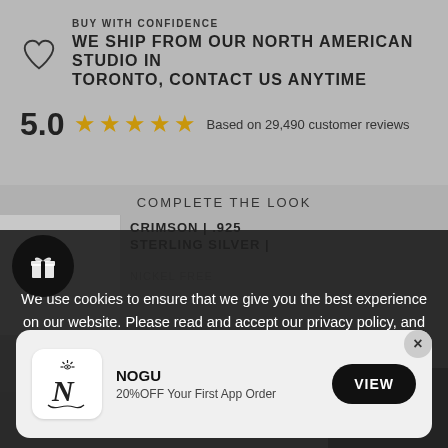BUY WITH CONFIDENCE
WE SHIP FROM OUR NORTH AMERICAN STUDIO IN TORONTO, CONTACT US ANYTIME
5.0 ★★★★★ Based on 29,490 customer reviews
COMPLETE THE LOOK
CRIMSON | .925
STERLING SILVER |
We use cookies to ensure that we give you the best experience on our website. Please read and accept our privacy policy, and policy on cookies to give you the best experience possible
ACCEPT ✓
[Figure (screenshot): NOGU app install popup card with logo, brand name NOGU, offer text '20%OFF Your First App Order', and VIEW button]
$38.00